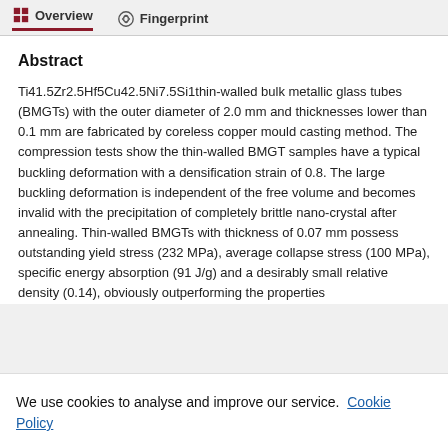Overview  Fingerprint
Abstract
Ti41.5Zr2.5Hf5Cu42.5Ni7.5Si1thin-walled bulk metallic glass tubes (BMGTs) with the outer diameter of 2.0 mm and thicknesses lower than 0.1 mm are fabricated by coreless copper mould casting method. The compression tests show the thin-walled BMGT samples have a typical buckling deformation with a densification strain of 0.8. The large buckling deformation is independent of the free volume and becomes invalid with the precipitation of completely brittle nano-crystal after annealing. Thin-walled BMGTs with thickness of 0.07 mm possess outstanding yield stress (232 MPa), average collapse stress (100 MPa), specific energy absorption (91 J/g) and a desirably small relative density (0.14), obviously outperforming the properties
We use cookies to analyse and improve our service. Cookie Policy